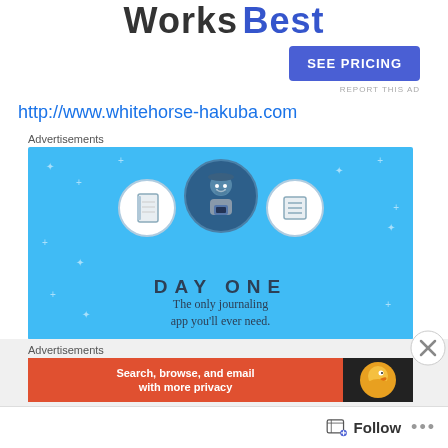Works Best
SEE PRICING
REPORT THIS AD
http://www.whitehorse-hakuba.com
Advertisements
[Figure (illustration): Day One journaling app advertisement banner on blue background with illustrated character holding phone, notebook and list icons, text 'DAY ONE' and 'The only journaling app you'll ever need.']
Advertisements
[Figure (screenshot): DuckDuckGo advertisement banner: 'Search, browse, and email with more privacy' on orange/red background with duck logo on dark right side]
Follow